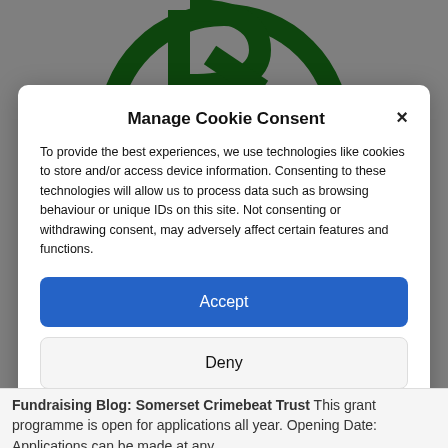[Figure (logo): Partial green circular logo with letter R visible at the top of the page behind the modal]
Manage Cookie Consent
To provide the best experiences, we use technologies like cookies to store and/or access device information. Consenting to these technologies will allow us to process data such as browsing behaviour or unique IDs on this site. Not consenting or withdrawing consent, may adversely affect certain features and functions.
Accept
Deny
View preferences
Cookie Policy   Privacy & Cookie Policy, Terms of Use
Fundraising Blog: Somerset Crimebeat Trust This grant programme is open for applications all year. Opening Date: Applications can be made at any